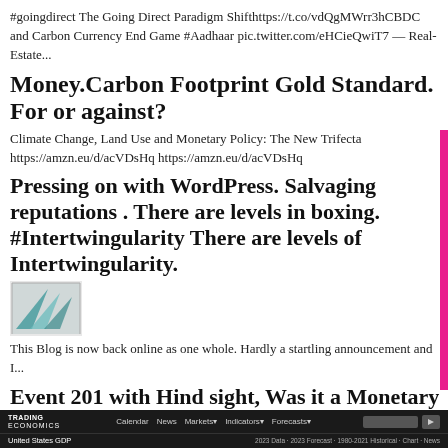#goingdirect The Going Direct Paradigm Shifthttps://t.co/vdQgMWrr3hCBDC and Carbon Currency End Game #Aadhaar pic.twitter.com/eHCieQwiT7 — Real-Estate...
Money.Carbon Footprint Gold Standard. For or against?
Climate Change, Land Use and Monetary Policy: The New Trifecta https://amzn.eu/d/acVDsHq https://amzn.eu/d/acVDsHq
Pressing on with WordPress. Salvaging reputations . There are levels in boxing. #Intertwingularity There are levels of Intertwingularity.
[Figure (thumbnail): Small thumbnail image with teal/blue triangular shapes resembling a flag or geometric design]
This Blog is now back online as one whole. Hardly a startling announcement and I...
Event 201 with Hind sight, Was it a Monetary event.Have we gone direct #CBDC #Carbon CurrencyEndGame
TRADING ECONOMICS | Calendar News Markets- Indicators- Forecasts- Search | United States GDP | 2023 Data - 2023 Forecast - 1980-2021 Historical - Chart - News